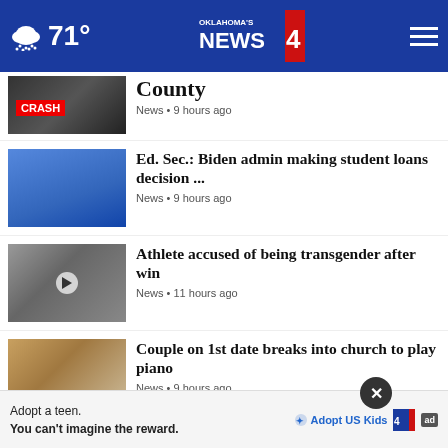71° Oklahoma's News 4
County
News • 9 hours ago
Ed. Sec.: Biden admin making student loans decision ...
News • 9 hours ago
Athlete accused of being transgender after win
News • 11 hours ago
Couple on 1st date breaks into church to play piano
News • 9 hours ago
Here's where airfare has increased the most: report
News • 13 hours ago
Why UPS chose the color br...
How I got my student loans for given:
Adopt a teen.
You can't imagine the reward.